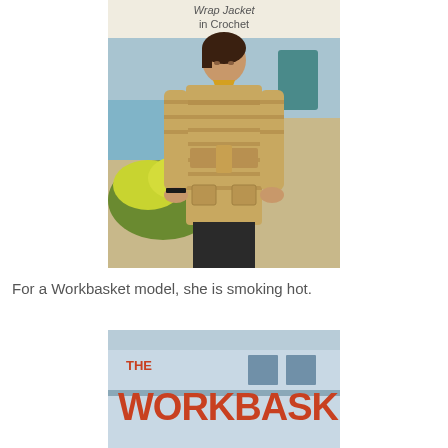[Figure (photo): A woman wearing a tan/beige crocheted wrap jacket with a belt, posed outdoors near a pool with yellow flowers. Text at top reads 'Wrap Jacket in Crochet'.]
For a Workbasket model, she is smoking hot.
[Figure (photo): Bottom portion of a magazine cover showing 'THE WORKBASKET' text in large orange/red letters against a light blue background.]